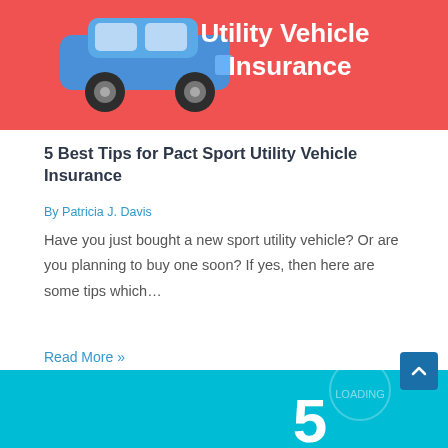[Figure (illustration): Red/coral banner with a blue SUV/car illustration on the left and bold white text 'Utility Vehicle Insurance' on the right]
5 Best Tips for Pact Sport Utility Vehicle Insurance
By Patricia J. Davis
Have you just bought a new sport utility vehicle? Or are you planning to buy one soon? If yes, then here are some tips which…
Read More »
[Figure (illustration): Teal/turquoise banner with a large number '5' and a circular badge element, partial view at bottom of page]